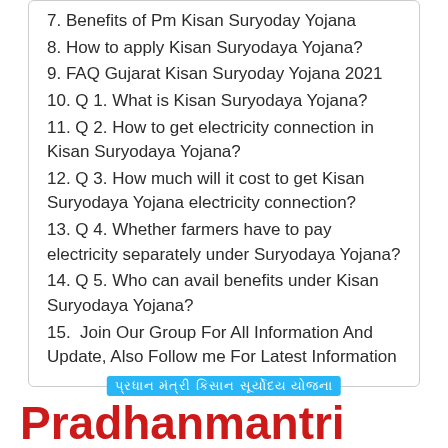7. Benefits of Pm Kisan Suryoday Yojana
8. How to apply Kisan Suryodaya Yojana?
9. FAQ Gujarat Kisan Suryoday Yojana 2021
10. Q 1. What is Kisan Suryodaya Yojana?
11. Q 2. How to get electricity connection in Kisan Suryodaya Yojana?
12. Q 3. How much will it cost to get Kisan Suryodaya Yojana electricity connection?
13. Q 4. Whether farmers have to pay electricity separately under Suryodaya Yojana?
14. Q 5. Who can avail benefits under Kisan Suryodaya Yojana?
15.  Join Our Group For All Information And Update, Also Follow me For Latest Information
પ્રધાન મંત્રી કિસાન સૂર્યોદય યોજના
Pradhanmantri Kisan